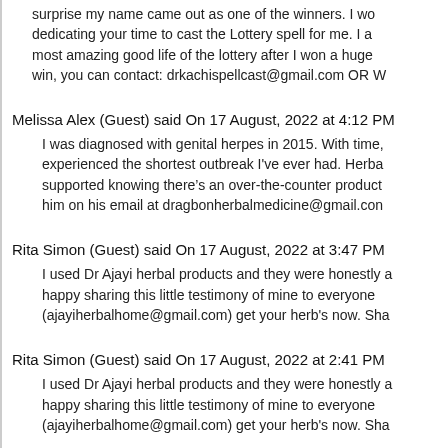surprise my name came out as one of the winners. I wo dedicating your time to cast the Lottery spell for me. I a most amazing good life of the lottery after I won a huge win, you can contact: drkachispellcast@gmail.com OR W
Melissa Alex (Guest) said On 17 August, 2022 at 4:12 PM
I was diagnosed with genital herpes in 2015. With time, experienced the shortest outbreak I've ever had. Herba supported knowing there's an over-the-counter product him on his email at dragbonherbalmedicine@gmail.con
Rita Simon (Guest) said On 17 August, 2022 at 3:47 PM
I used Dr Ajayi herbal products and they were honestly a happy sharing this little testimony of mine to everyone (ajayiherbalhome@gmail.com) get your herb's now. Sha
Rita Simon (Guest) said On 17 August, 2022 at 2:41 PM
I used Dr Ajayi herbal products and they were honestly a happy sharing this little testimony of mine to everyone (ajayiherbalhome@gmail.com) get your herb's now. Sha